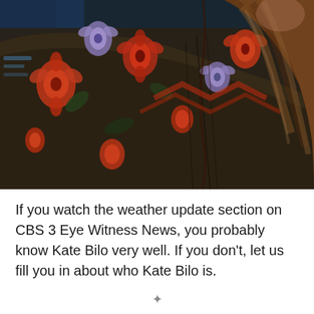[Figure (photo): Close-up photo of a woman seen from behind/side showing a dark floral dress with orange and purple flowers, and long wavy brown hair. Background shows a blurred blue TV studio screen.]
If you watch the weather update section on CBS 3 Eye Witness News, you probably know Kate Bilo very well. If you don't, let us fill you in about who Kate Bilo is.